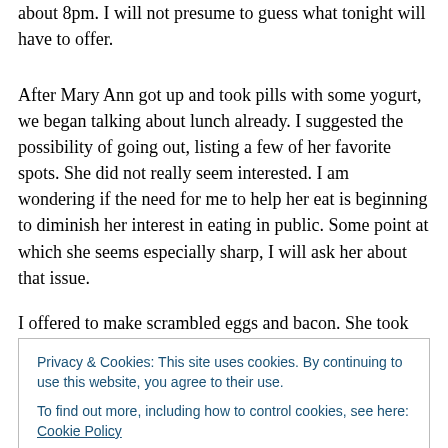about 8pm.  I will not presume to guess what tonight will have to offer.
After Mary Ann got up and took pills with some yogurt, we began talking about lunch already.  I suggested the possibility of going out, listing a few of her favorite spots.  She did not really seem interested.  I am wondering if the need for me to help her eat is beginning to diminish her interest in eating in public.  Some point at which she seems especially sharp, I will ask her about that issue.
I offered to make scrambled eggs and bacon.  She took
[Figure (screenshot): Cookie consent banner overlay with text: 'Privacy & Cookies: This site uses cookies. By continuing to use this website, you agree to their use. To find out more, including how to control cookies, see here: Cookie Policy' and a 'Close and accept' button.]
Mary Ann at...